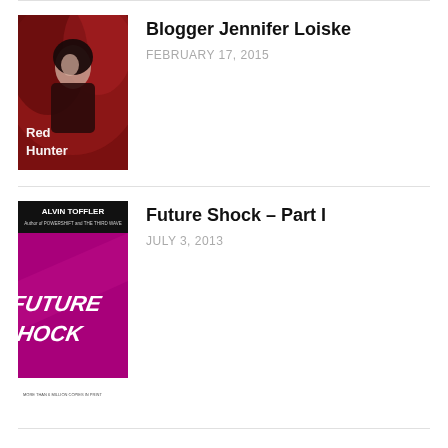[Figure (photo): Book cover of 'Red Hunter' showing a woman with dark hair against a red background]
Blogger Jennifer Loiske
FEBRUARY 17, 2015
[Figure (photo): Book cover of 'Future Shock' by Alvin Toffler with purple/magenta design and bold italic title text. Bottom text: MORE THAN 6 MILLION COPIES IN PRINT]
Future Shock – Part I
JULY 3, 2013
Recent Comments